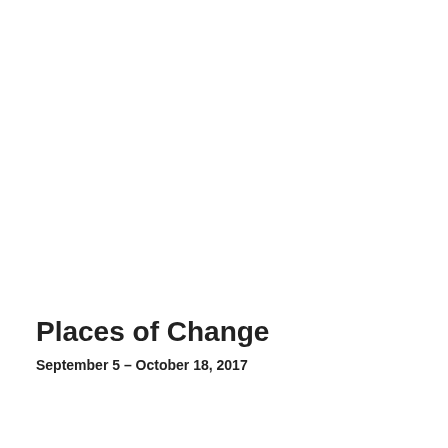Places of Change
September 5 – October 18, 2017